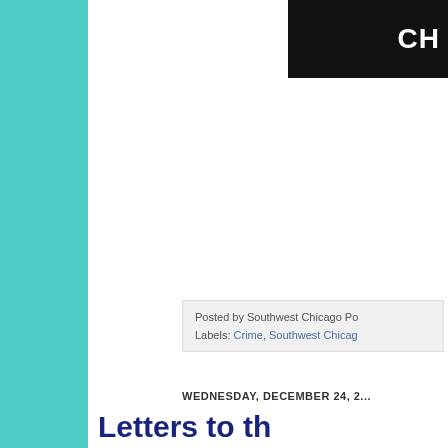CH
Posted by Southwest Chicago Po
Labels: Crime, Southwest Chicag
WEDNESDAY, DECEMBER 24, 2...
Letters to th
Editor's note: We respect you... editor will be reviewed before being pos... comments, yet we will not all... to serve as a forum for bigotr... allow personal attacks agains... officials and other public figu... keep our tone respectful and... important as we work togeth...